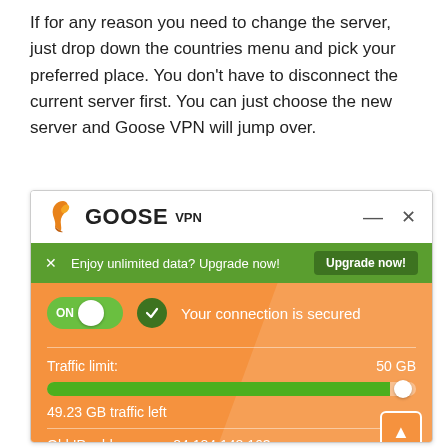If for any reason you need to change the server, just drop down the countries menu and pick your preferred place. You don't have to disconnect the current server first. You can just choose the new server and Goose VPN will jump over.
[Figure (screenshot): Goose VPN application window showing: green upgrade banner 'Enjoy unlimited data? Upgrade now!', ON toggle switch, 'Your connection is secured' message, traffic limit of 50 GB with progress bar showing 49.23 GB traffic left, and Old IP address: 84.184.148.163]